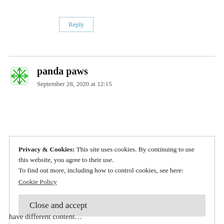Reply
panda paws
September 28, 2020 at 12:15
Privacy & Cookies: This site uses cookies. By continuing to use this website, you agree to their use.
To find out more, including how to control cookies, see here:
Cookie Policy
Close and accept
…have different content…